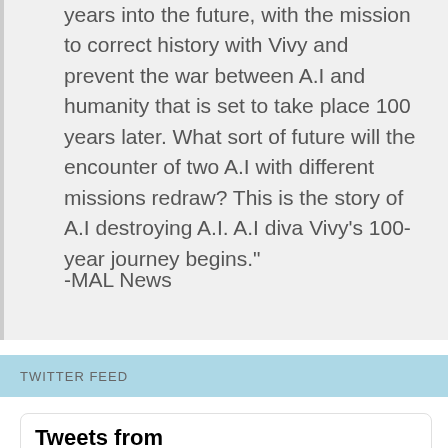years into the future, with the mission to correct history with Vivy and prevent the war between A.I and humanity that is set to take place 100 years later. What sort of future will the encounter of two A.I with different missions redraw? This is the story of A.I destroying A.I. A.I diva Vivy’s 100-year journey begins.”
-MAL News
TWITTER FEED
Tweets from @kirito_narukami
🔁 ⛩KiritoNarukami🦊 Retweeted